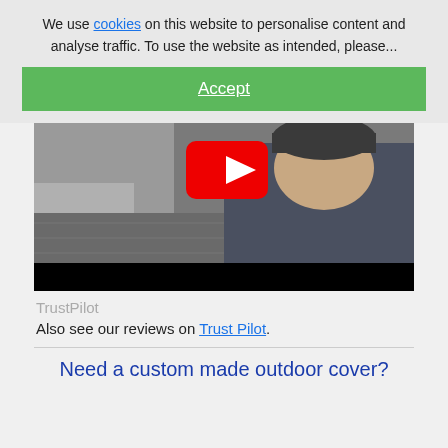We use cookies on this website to personalise content and analyse traffic. To use the website as intended, please...
Accept
[Figure (screenshot): Video thumbnail showing a person in a dark jacket waving, with a YouTube play button overlay, and a black control bar at the bottom.]
TrustPilot
Also see our reviews on Trust Pilot.
Need a custom made outdoor cover?